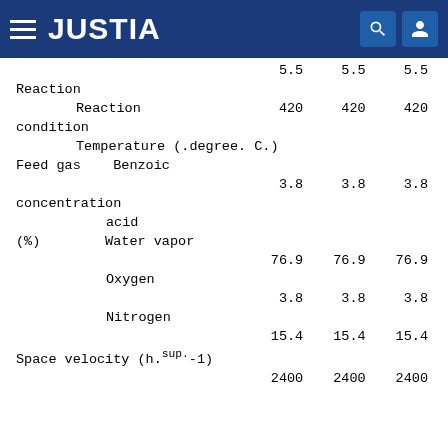JUSTIA
| Parameter | Col1 | Col2 | Col3 |
| --- | --- | --- | --- |
|  | 5.5 | 5.5 | 5.5 |
| Reaction |  |  |  |
|     Reaction | 420 | 420 | 420 |
| condition |  |  |  |
|     Temperature (.degree. C.) |  |  |  |
| Feed gas    Benzoic |  |  |  |
|  | 3.8 | 3.8 | 3.8 |
| concentration |  |  |  |
|         acid |  |  |  |
| (%)         Water vapor |  |  |  |
|  | 76.9 | 76.9 | 76.9 |
|         Oxygen |  |  |  |
|  | 3.8 | 3.8 | 3.8 |
|         Nitrogen |  |  |  |
|  | 15.4 | 15.4 | 15.4 |
| Space velocity (h.sup.-1) |  |  |  |
|  | 2400 | 2400 | 2400 |